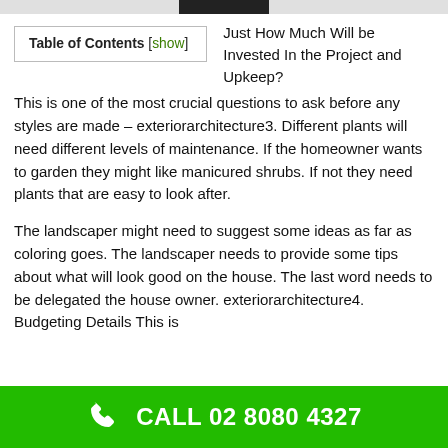| Table of Contents [show] |
| --- |
Just How Much Will be Invested In the Project and Upkeep? This is one of the most crucial questions to ask before any styles are made – exteriorarchitecture3. Different plants will need different levels of maintenance. If the homeowner wants to garden they might like manicured shrubs. If not they need plants that are easy to look after.
The landscaper might need to suggest some ideas as far as coloring goes. The landscaper needs to provide some tips about what will look good on the house. The last word needs to be delegated the house owner. exteriorarchitecture4. Budgeting Details This is
CALL 02 8080 4327